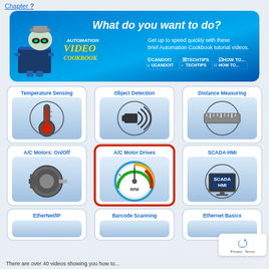Chapter ?
[Figure (infographic): Automation Video Cookbook banner: 'What do you want to do?' with robot mascot, categories U CAN DO IT, TECH TIPS, HOW TO...]
[Figure (infographic): Grid of topic buttons: Temperature Sensing, Object Detection, Distance Measuring, A/C Motors: On/Off, A/C Motor Drives (highlighted in red), SCADA HMI, EtherNet/IP, Barcode Scanning, Ethernet Basics]
There are over 40 videos showing you how to...